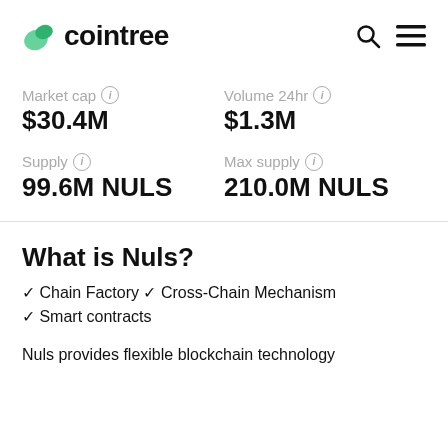cointree
Market cap  $30.4M
Volume 24hr  $1.3M
Supply  99.6M NULS
Max supply  210.0M NULS
What is Nuls?
✓ Chain Factory ✓ Cross-Chain Mechanism
✓ Smart contracts
Nuls provides flexible blockchain technology